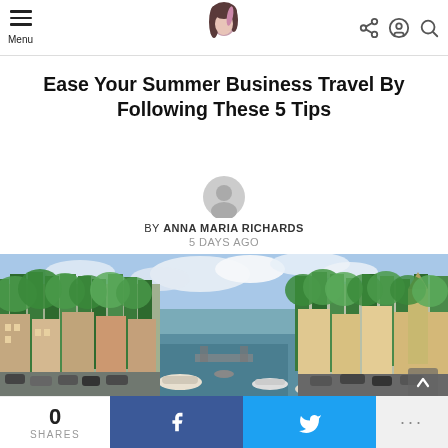Menu | [Logo] | [Share icon] [User icon] [Search icon]
Ease Your Summer Business Travel By Following These 5 Tips
BY ANNA MARIA RICHARDS
5 DAYS AGO
[Figure (photo): Amsterdam canal with boats, trees, and historic buildings on a sunny day]
0 SHARES | f | Twitter bird | ...